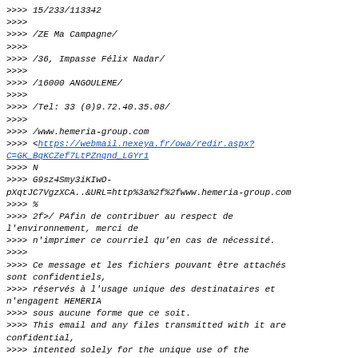>>>> 15/233/113342
>>>>
>>>> /ZE Ma Campagne/
>>>>
>>>> /36, Impasse Félix Nadar/
>>>>
>>>> /16000 ANGOULEME/
>>>>
>>>> /Tel: 33 (0)9.72.40.35.08/
>>>>
>>>> /www.hemeria-group.com
>>>> <https://webmail.nexeya.fr/owa/redir.aspx?C=GK_BqKCZef7LtPZnqnd_LGYr1
>>>> N
>>>> G9sz4Smy3iKIwO-pXqtJC7VgzXCA..&URL=http%3a%2f%2fwww.hemeria-group.com
>>>> %
>>>> 2f>/ PAfin de contribuer au respect de l'environnement, merci de
>>>> n'imprimer ce courriel qu'en cas de nécessité.
>>>>
>>>> Ce message et les fichiers pouvant être attachés sont confidentiels,
>>>> réservés à l'usage unique des destinataires et n'engagent HEMERIA
>>>> sous aucune forme que ce soit.
>>>> This email and any files transmitted with it are confidential,
>>>> intented solely for the unique use of the recipients and don't commit HEMERIA.